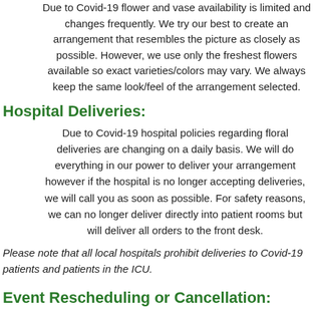Due to Covid-19 flower and vase availability is limited and changes frequently. We try our best to create an arrangement that resembles the picture as closely as possible. However, we use only the freshest flowers available so exact varieties/colors may vary. We always keep the same look/feel of the arrangement selected.
Hospital Deliveries:
Due to Covid-19 hospital policies regarding floral deliveries are changing on a daily basis. We will do everything in our power to deliver your arrangement however if the hospital is no longer accepting deliveries, we will call you as soon as possible. For safety reasons, we can no longer deliver directly into patient rooms but will deliver all orders to the front desk.
Please note that all local hospitals prohibit deliveries to Covid-19 patients and patients in the ICU.
Event Rescheduling or Cancellation:
If you need to reschedule or cancel an event that you have ordered flowers for due to the coronavirus please give us a